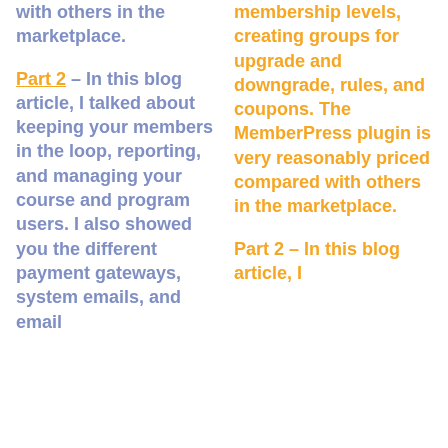with others in the marketplace.
Part 2 – In this blog article, I talked about keeping your members in the loop, reporting, and managing your course and program users. I also showed you the different payment gateways, system emails, and email
membership levels, creating groups for upgrade and downgrade, rules, and coupons. The MemberPress plugin is very reasonably priced compared with others in the marketplace.
Part 2 – In this blog article, I